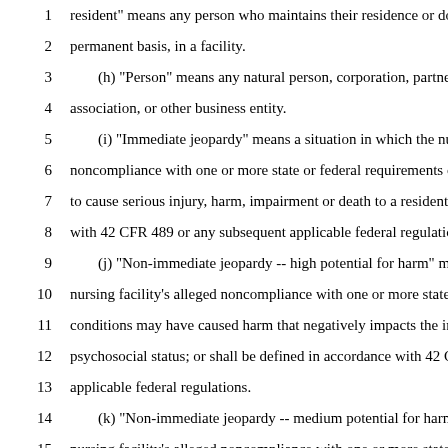1   resident" means any person who maintains their residence or dom
2   permanent basis, in a facility.
3       (h) "Person" means any natural person, corporation, partnershi
4   association, or other business entity.
5       (i) "Immediate jeopardy" means a situation in which the nursi
6   noncompliance with one or more state or federal requirements or
7   to cause serious injury, harm, impairment or death to a resident; o
8   with 42 CFR 489 or any subsequent applicable federal regulations
9       (j) "Non-immediate jeopardy -- high potential for harm" mean
10  nursing facility's alleged noncompliance with one or more state o
11  conditions may have caused harm that negatively impacts the ind
12  psychosocial status; or shall be defined in accordance with 42 CF
13  applicable federal regulations.
14      (k) "Non-immediate jeopardy -- medium potential for harm" m
15  nursing facility's alleged noncompliance with one or more state o